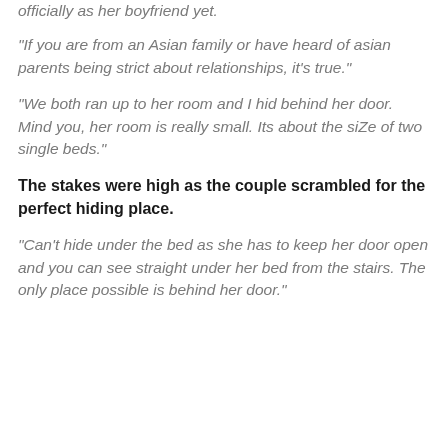officially as her boyfriend yet.
“If you are from an Asian family or have heard of asian parents being strict about relationships, it’s true.”
“We both ran up to her room and I hid behind her door. Mind you, her room is really small. Its about the siZe of two single beds.”
The stakes were high as the couple scrambled for the perfect hiding place.
“Can’t hide under the bed as she has to keep her door open and you can see straight under her bed from the stairs. The only place possible is behind her door.”